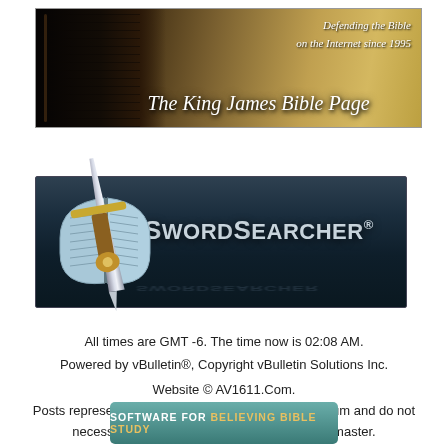[Figure (illustration): The King James Bible Page banner with open Bible book on dark background, text 'Defending the Bible on the Internet since 1995' and 'The King James Bible Page' in italic serif font]
[Figure (logo): SwordSearcher logo with open book and sword graphic on dark navy background, large text 'SwordSearcher' with registered trademark symbol]
All times are GMT -6. The time now is 02:08 AM.
Powered by vBulletin®, Copyright vBulletin Solutions Inc.
Website © AV1611.Com.
Posts represent only the opinions of users of this forum and do not necessarily represent the opinions of the webmaster.
[Figure (logo): Software for Believing Bible Study banner in teal/green rounded rectangle]